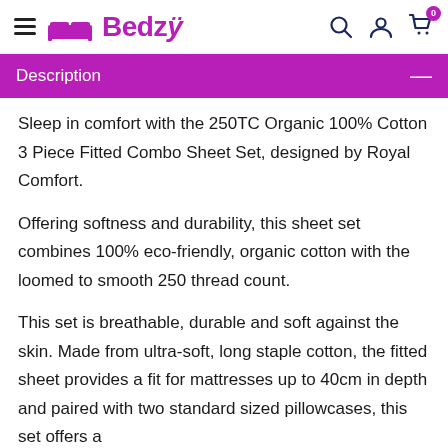Bedzy
Description
Sleep in comfort with the 250TC Organic 100% Cotton 3 Piece Fitted Combo Sheet Set, designed by Royal Comfort.
Offering softness and durability, this sheet set combines 100% eco-friendly, organic cotton with the loomed to smooth 250 thread count.
This set is breathable, durable and soft against the skin. Made from ultra-soft, long staple cotton, the fitted sheet provides a fit for mattresses up to 40cm in depth and paired with two standard sized pillowcases, this set offers a